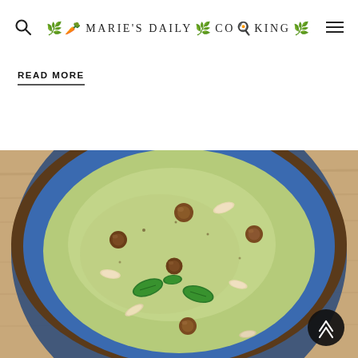Marie's Daily Cooking
READ MORE
[Figure (photo): Overhead photo of a blue ceramic bowl filled with green creamy soup, garnished with hazelnuts, sliced almonds, and fresh basil leaves on a wooden surface.]